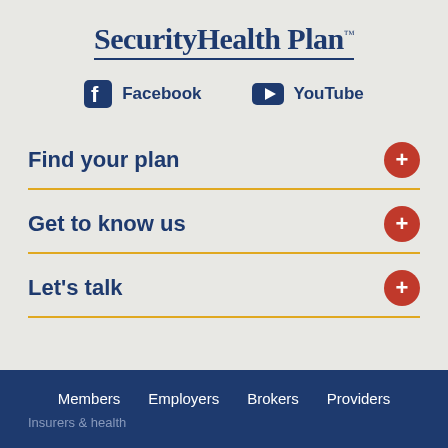[Figure (logo): SecurityHealthPlan logo with trademark symbol]
Facebook   YouTube
Find your plan
Get to know us
Let's talk
Members   Employers   Brokers   Providers